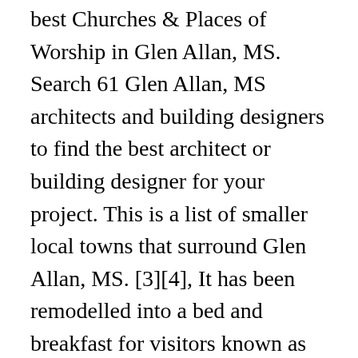best Churches & Places of Worship in Glen Allan, MS. Search 61 Glen Allan, MS architects and building designers to find the best architect or building designer for your project. This is a list of smaller local towns that surround Glen Allan, MS. [3][4], It has been remodelled into a bed and breakfast for visitors known as Linden-on-the-Lake. Get directions, maps, and traffic for Glen Allan, MS. Glen Allan: Basic Facts & Information. Phone: 780-467-5519. Check this and other Glen Allan public information easily. Glen Allan, Mississippi Census Data & Community Profile. Feel free to download the PDF version of the Glen Allan, MS map so that you can easily access it while you travel without any means to the Internet.